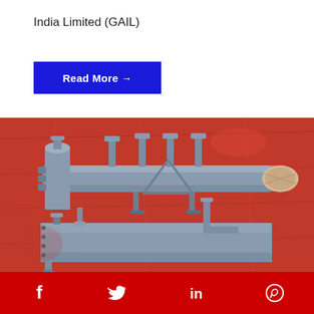India Limited (GAIL)
Read More →
[Figure (photo): Industrial pipe manifold assembly with multiple cylindrical vessels and pipe connections, painted grey, set against an orange/red background tarpaulin. Shows pressure vessels with flanged connections and support structures.]
Social media icons: Facebook, Twitter, LinkedIn, WhatsApp